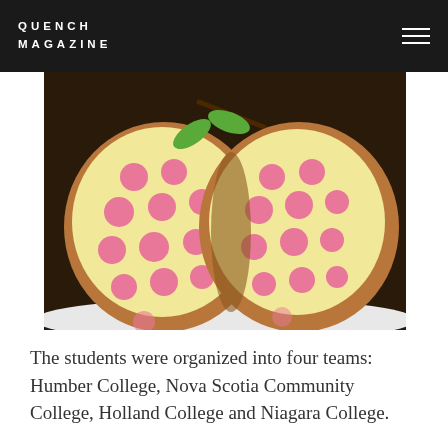QUENCH MAGAZINE
[Figure (photo): Cross-section of two round polka-dot cakes with pink circular spots on yellow/cream sponge, covered in brown coating, with green marzipan leaves on top, placed on a white surface.]
The students were organized into four teams: Humber College, Nova Scotia Community College, Holland College and Niagara College.